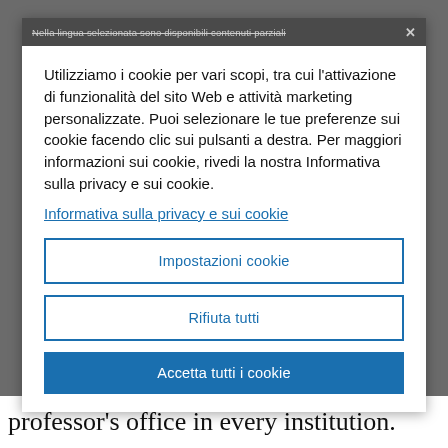Nella lingua selezionata sono disponibili contenuti parziali
Utilizziamo i cookie per vari scopi, tra cui l'attivazione di funzionalità del sito Web e attività marketing personalizzate. Puoi selezionare le tue preferenze sui cookie facendo clic sui pulsanti a destra. Per maggiori informazioni sui cookie, rivedi la nostra Informativa sulla privacy e sui cookie.
Informativa sulla privacy e sui cookie
Impostazioni cookie
Rifiuta tutti
Accetta tutti i cookie
professor's office in every institution.